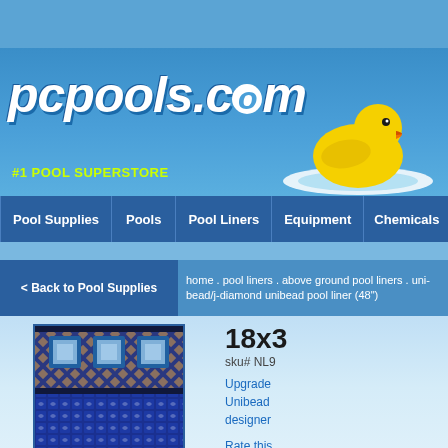[Figure (logo): pcpools.com logo with rubber duck, tagline #1 POOL SUPERSTORE]
Pool Supplies | Pools | Pool Liners | Equipment | Chemicals
< Back to Pool Supplies
home . pool liners . above ground pool liners . uni-bead/j-diamond unibead pool liner (48")
[Figure (photo): Pool liner product image showing diamond pattern top border and blue mosaic bottom]
18x3
sku# NL9
Upgrade Unibead designer
Rate this
Shape
Oval